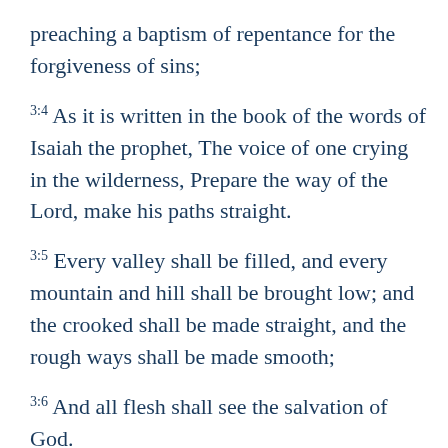preaching a baptism of repentance for the forgiveness of sins;
3:4 As it is written in the book of the words of Isaiah the prophet, The voice of one crying in the wilderness, Prepare the way of the Lord, make his paths straight.
3:5 Every valley shall be filled, and every mountain and hill shall be brought low; and the crooked shall be made straight, and the rough ways shall be made smooth;
3:6 And all flesh shall see the salvation of God.
3:7 Then he said to the multitude that came forth to be baptized by him, O generation of vipers, who warned you